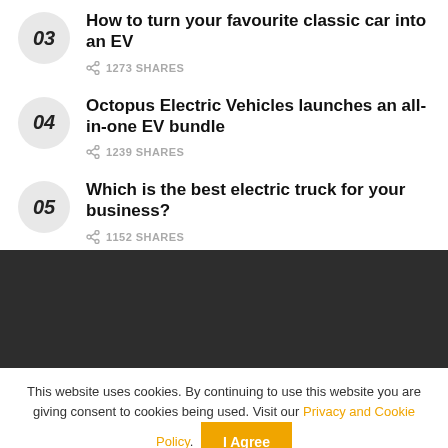03 — How to turn your favourite classic car into an EV — 1273 SHARES
04 — Octopus Electric Vehicles launches an all-in-one EV bundle — 1239 SHARES
05 — Which is the best electric truck for your business? — 1152 SHARES
This website uses cookies. By continuing to use this website you are giving consent to cookies being used. Visit our Privacy and Cookie Policy. I Agree